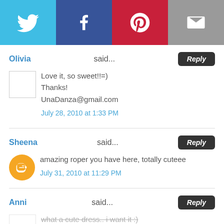[Figure (infographic): Social sharing bar with Twitter (blue), Facebook (dark blue), Pinterest (red), and email (gray) icons]
Olivia said...
Love it, so sweet!!=)
Thanks!
UnaDanza@gmail.com
July 28, 2010 at 1:33 PM
Sheena said...
amazing roper you have here, totally cuteee
July 31, 2010 at 11:29 PM
Anni said...
what a cute dress.. i want it :)
August 1, 2010 at 10:40 AM